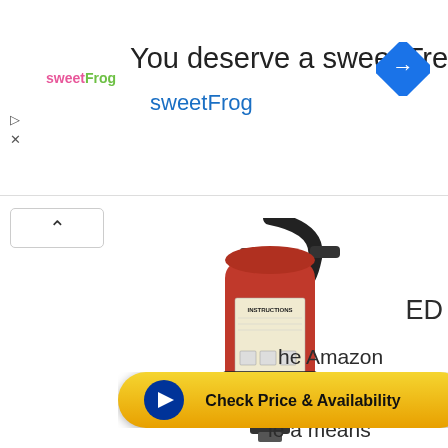[Figure (screenshot): Advertisement banner for sweetFrog frozen yogurt. Shows sweetFrog logo on left, text 'You deserve a sweet Treat' as headline, 'sweetFrog' as subheadline in teal/blue, Google Maps navigation arrow icon on the right, with play and close (X) icons on far left.]
[Figure (photo): Red fire extinguisher with black hose and instruction label, shown against white background. The extinguisher is a standard ABC dry chemical type with a diamond-shaped label on the body.]
ED
he Amazon
filiate
le a means
ertising and
[Figure (screenshot): Yellow rounded CTA button with navy blue play button circle on left and text 'Check Price & Availability' in bold black text.]